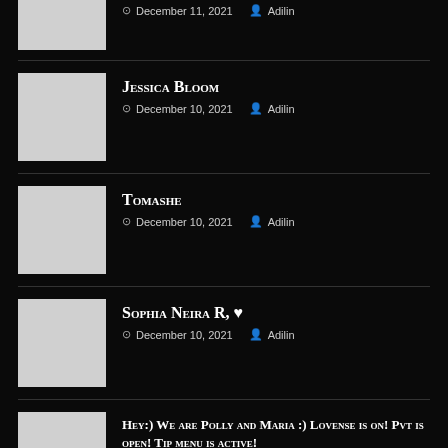December 11, 2021  Adilin
Jessica Bloom
December 10, 2021  Adilin
Tomashe
December 10, 2021  Adilin
Sophia Neira R, ♥
December 10, 2021  Adilin
Hey:) We are Polly and Maria :) Lovense is on! Pvt is open! Tip menu is active!
December 10, 2021  Adilin